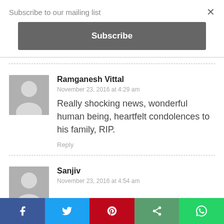Subscribe to our mailing list
×
Subscribe
Ramganesh Vittal
November 23, 2016 at 4:29 am
Really shocking news, wonderful human being, heartfelt condolences to his family, RIP.
Reply
Sanjiv
November 23, 2016 at 4:54 am